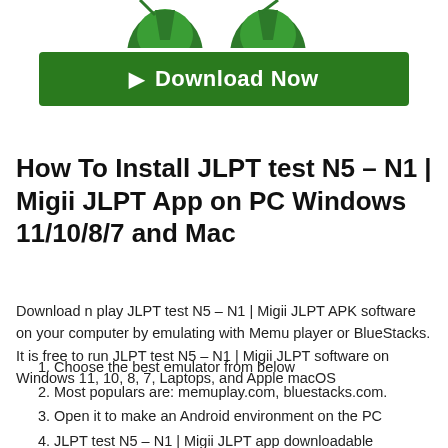[Figure (illustration): Partial view of two green mascot/app icons at the top of the page, cropped]
[Figure (other): Green Download Now button with arrow icon]
How To Install JLPT test N5 – N1 | Migii JLPT App on PC Windows 11/10/8/7 and Mac
Download n play JLPT test N5 – N1 | Migii JLPT APK software on your computer by emulating with Memu player or BlueStacks. It is free to run JLPT test N5 – N1 | Migii JLPT software on Windows 11, 10, 8, 7, Laptops, and Apple macOS
Choose the best emulator from below
Most populars are: memuplay.com, bluestacks.com.
Open it to make an Android environment on the PC
JLPT test N5 – N1 | Migii JLPT app downloadable